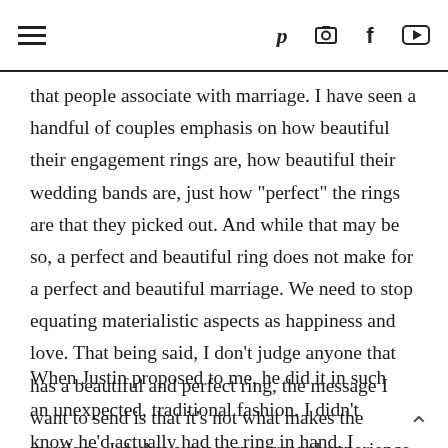[menu icon] [pinterest] [camera] [facebook] [youtube]
that people associate with marriage. I have seen a handful of couples emphasis on how beautiful their engagement rings are, how beautiful their wedding bands are, just how "perfect" the rings are that they picked out. And while that may be so, a perfect and beautiful ring does not make for a perfect and beautiful marriage. We need to stop equating materialistic aspects as happiness and love. That being said, I don't judge anyone that has a beautiful and perfect ring, the message I want to send is that it's not what makes the marriage. I do have my own personal experience to share for this exact post, so let's get to it.
When Justin proposed to me, he did it in such an unexpected, traditional fashion. I didn't know he'd actually had the ring in hand, I didn't know the moment that it was